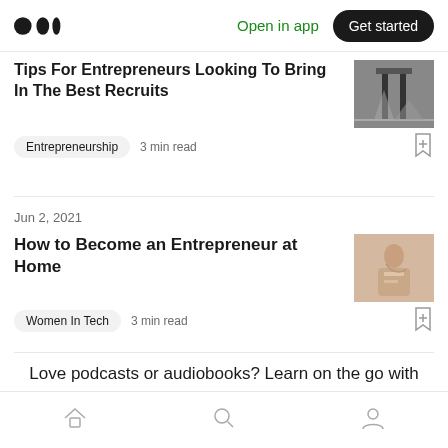Medium logo | Open in app | Get started
Tips For Entrepreneurs Looking To Bring In The Best Recruits
Entrepreneurship   3 min read
Jun 2, 2021
How to Become an Entrepreneur at Home
Women In Tech   3 min read
Love podcasts or audiobooks? Learn on the go with our new app.
Home | Search | Profile